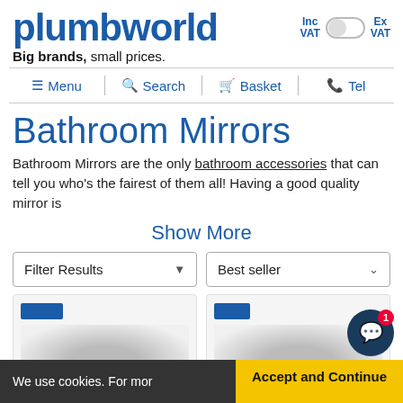[Figure (logo): Plumbworld logo — blue bold text 'plumbworld' with tagline 'Big brands, small prices.' and an Inc VAT / Ex VAT toggle switch on the right]
≡ Menu | 🔍 Search | 🛒 Basket | 📞 Tel
Bathroom Mirrors
Bathroom Mirrors are the only bathroom accessories that can tell you who's the fairest of them all! Having a good quality mirror is
Show More
Filter Results | Best seller
[Figure (screenshot): Two blurred bathroom mirror product cards with blue promotional badge labels, shown at the bottom of the page]
We use cookies. For mor… Accept and Continue